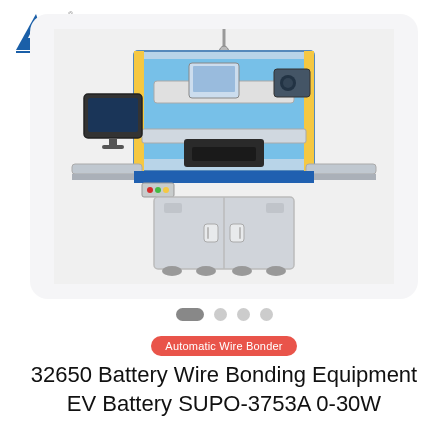[Figure (logo): AW company logo - blue and red angular letters A and W with registration mark]
[Figure (photo): Industrial wire bonding machine - large blue and grey automated wire bonder with monitor on left side, enclosed top section with blue lighting, industrial cabinet base with double doors]
[Figure (infographic): Carousel navigation dots - one active wide dark pill shape followed by three circular light grey dots]
Automatic Wire Bonder
32650 Battery Wire Bonding Equipment EV Battery SUPO-3753A 0-30W